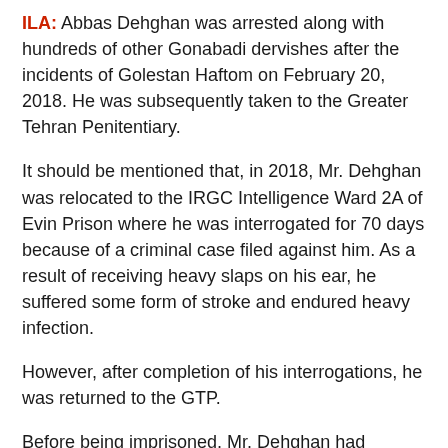ILA: Abbas Dehghan was arrested along with hundreds of other Gonabadi dervishes after the incidents of Golestan Haftom on February 20, 2018. He was subsequently taken to the Greater Tehran Penitentiary.
It should be mentioned that, in 2018, Mr. Dehghan was relocated to the IRGC Intelligence Ward 2A of Evin Prison where he was interrogated for 70 days because of a criminal case filed against him. As a result of receiving heavy slaps on his ear, he suffered some form of stroke and endured heavy infection.
However, after completion of his interrogations, he was returned to the GTP.
Before being imprisoned, Mr. Dehghan had donated one of his kidneys to a needy patient. He has only one kidney at the present time. The kidney has become very weak as a result of hunger strikes and pressures of interrogations. Therefore, he is very vulnerable to